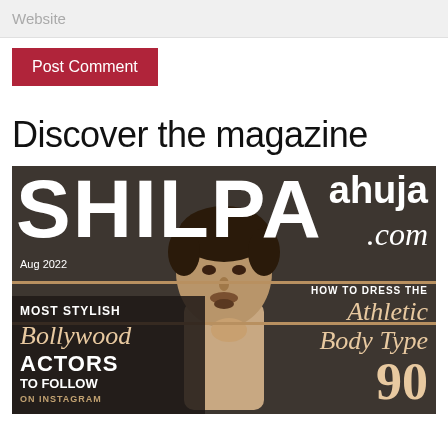Website
Post Comment
Discover the magazine
[Figure (photo): Magazine cover of Shilpaahuja.com, Aug 2022 issue, featuring a male Bollywood model. Left side text: MOST STYLISH Bollywood ACTORS TO FOLLOW ON INSTAGRAM. Right side text: HOW TO DRESS THE Athletic Body Type. Large number 90 at bottom right. Dark olive/brown background with tan horizontal stripes.]